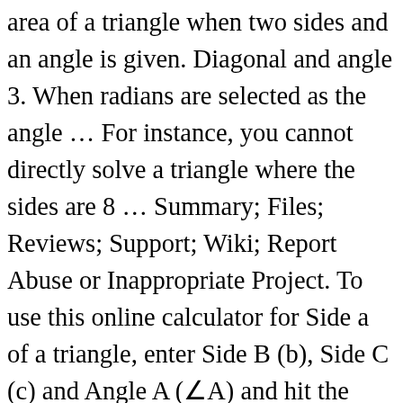area of a triangle when two sides and an angle is given. Diagonal and angle 3. When radians are selected as the angle … For instance, you cannot directly solve a triangle where the sides are 8 … Summary; Files; Reviews; Support; Wiki; Report Abuse or Inappropriate Project. To use this online calculator for Side a of a triangle, enter Side B (b), Side C (c) and Angle A (∠A) and hit the calculate button. Free Trapezoid Sides & Angles Calculator - Calculate sides, angles of an trapezoid step-by-step. [1], sin(A) < a/c, there are two possible triangles, solve for the 2 possible values of the 3rd...